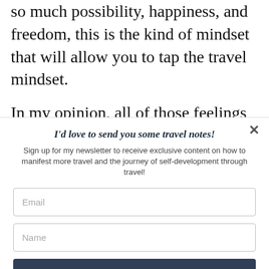so much possibility, happiness, and freedom, this is the kind of mindset that will allow you to tap the travel mindset.
In my opinion, all of those feelings described above do not have to be exclusive to the moments that you are physically traveling
I'd love to send you some travel notes!
Sign up for my newsletter to receive exclusive content on how to manifest more travel and the journey of self-development through travel!